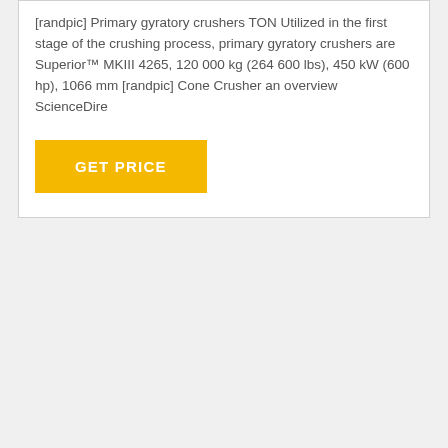[randpic] Primary gyratory crushers TON Utilized in the first stage of the crushing process, primary gyratory crushers are Superior™ MKIII 4265, 120 000 kg (264 600 lbs), 450 kW (600 hp), 1066 mm [randpic] Cone Crusher an overview ScienceDire
GET PRICE